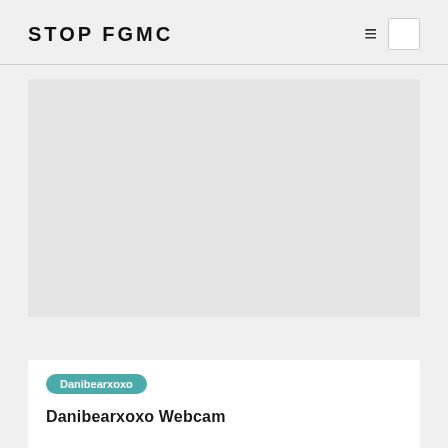Stop FGMC
[Figure (other): Large gray placeholder image area for an article]
Danibearxoxo
Danibearxoxo Webcam